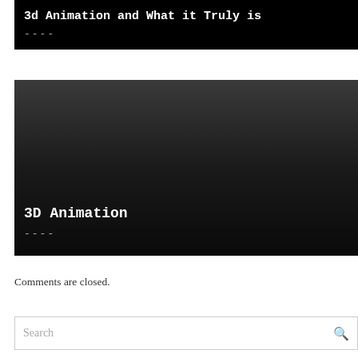3d Animation and What it Truly is
----
[Figure (illustration): Dark gradient card with title '3D Animation' and dashes at bottom left]
Comments are closed.
Search